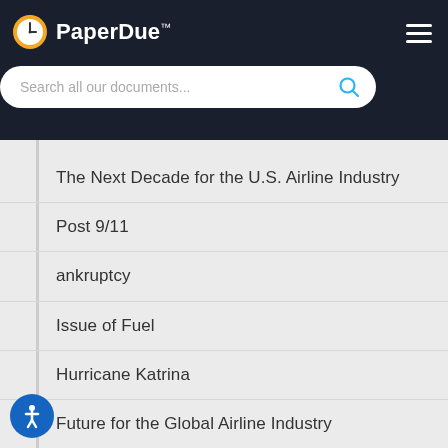PaperDue™
Search all our documents...
The Next Decade for the U.S. Airline Industry
Post 9/11
ankruptcy
Issue of Fuel
Hurricane Katrina
Future for the Global Airline Industry